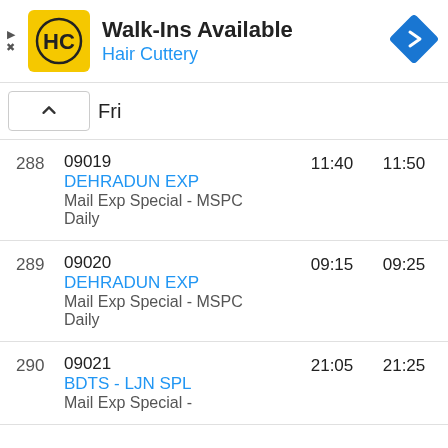[Figure (logo): Hair Cuttery advertisement banner with HC logo, 'Walk-Ins Available' title, 'Hair Cuttery' subtitle in blue, and a blue navigation/directions diamond icon]
Fri
| # | Train | Arrival | Departure |
| --- | --- | --- | --- |
| 288 | 09019
DEHRADUN EXP
Mail Exp Special - MSPC
Daily | 11:40 | 11:50 |
| 289 | 09020
DEHRADUN EXP
Mail Exp Special - MSPC
Daily | 09:15 | 09:25 |
| 290 | 09021
BDTS - LJN SPL
Mail Exp Special - | 21:05 | 21:25 |